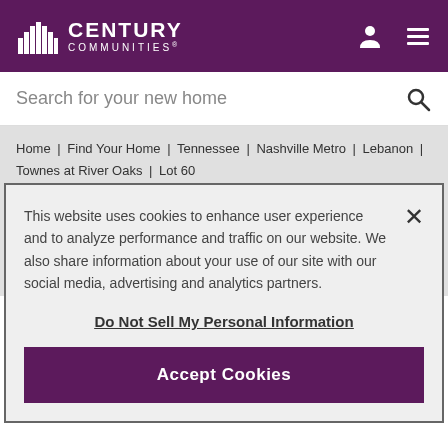CENTURY COMMUNITIES®
Search for your new home
Home | Find Your Home | Tennessee | Nashville Metro | Lebanon | Townes at River Oaks | Lot 60
Explore homesites at this community!
This website uses cookies to enhance user experience and to analyze performance and traffic on our website. We also share information about your use of our site with our social media, advertising and analytics partners.
Do Not Sell My Personal Information
Accept Cookies